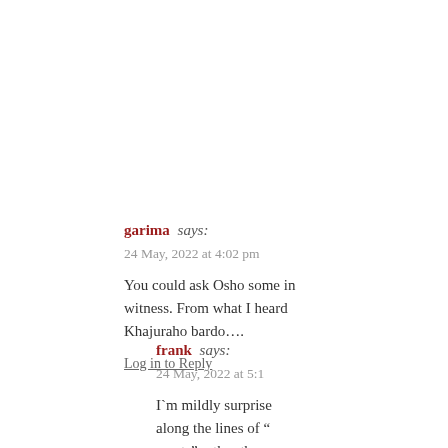garima says:
24 May, 2022 at 4:02 pm
You could ask Osho some in witness. From what I heard Khajuraho bardo….
Log in to Reply
frank says:
24 May, 2022 at 5:1
I`m mildly surprise along the lines of “ wants” rather than a that`s quite telling